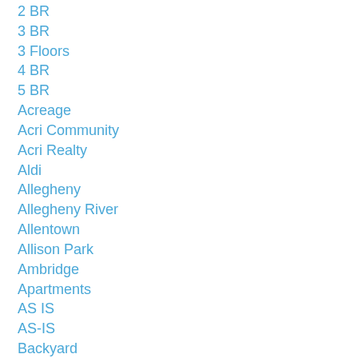2 BR
3 BR
3 Floors
4 BR
5 BR
Acreage
Acri Community
Acri Realty
Aldi
Allegheny
Allegheny River
Allentown
Allison Park
Ambridge
Apartments
AS IS
AS-IS
Backyard
Bakery Square
Baldwin Boro
Banksville